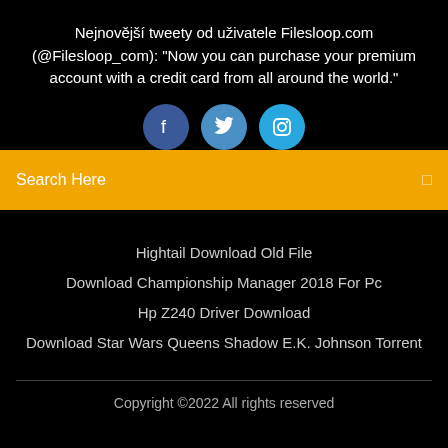Nejnovější tweety od uživatele Filesloop.com (@Filesloop_com): "Now you can purchase your premium account with a credit card from all around the world."
[Figure (illustration): Three circular social media icon buttons: Facebook (dark blue), Twitter (medium blue), Instagram (light blue)]
Search Here
Hightail Download Old File
Download Championship Manager 2018 For Pc
Hp Z240 Driver Download
Download Star Wars Queens Shadow E.K. Johnson Torrent
Copyright ©2022 All rights reserved